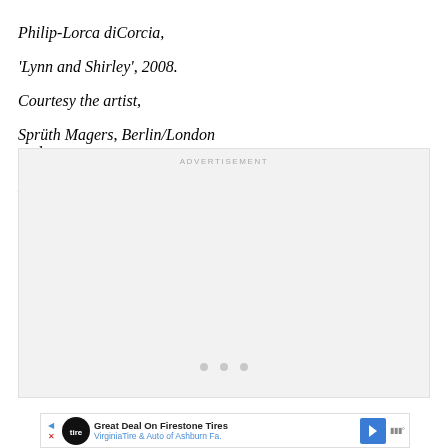Philip-Lorca diCorcia, 'Lynn and Shirley', 2008. Courtesy the artist, Sprüth Magers, Berlin/London and David Zwirner, New York/London.
[Figure (other): Advertisement placeholder box with 'ADVERTISEMENT' label and three loading dots]
[Figure (other): Bottom advertisement banner for Firestone Tires / Virginia Tire & Auto of Ashburn Fa.]